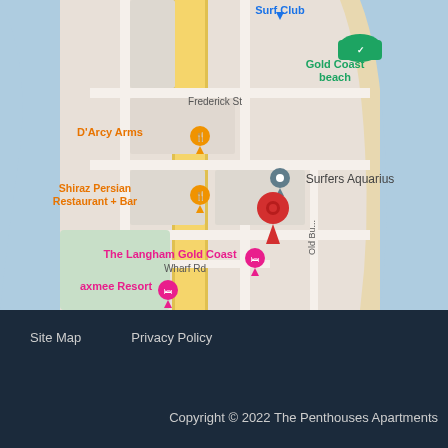[Figure (map): Google Maps screenshot showing Surfers Paradise, Gold Coast area. Visible landmarks include: D'Arcy Arms restaurant (orange pin), Shiraz Persian Restaurant + Bar (orange pin), Surfers Aquarius (grey pin), a red location marker pin near Surfers Aquarius, The Langham Gold Coast (pink pin), axmee Resort (pink pin), Gold Coast beach (green pin with checkmark), Frederick St label, Wharf Rd label, Old Bur... road label. The map shows a coastal area with ocean/bay on the left (blue), a yellow road running vertically, grey streets, sandy beach strip on the right, and ocean on the far right.]
Site Map   Privacy Policy
Copyright © 2022 The Penthouses Apartments